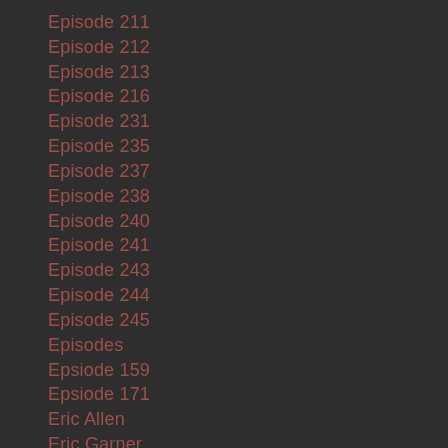Episode 211
Episode 212
Episode 213
Episode 216
Episode 231
Episode 235
Episode 237
Episode 238
Episode 240
Episode 241
Episode 243
Episode 244
Episode 245
Episodes
Epsiode 159
Epsiode 171
Eric Allen
Eric Garner
Eric Greitens
Espn